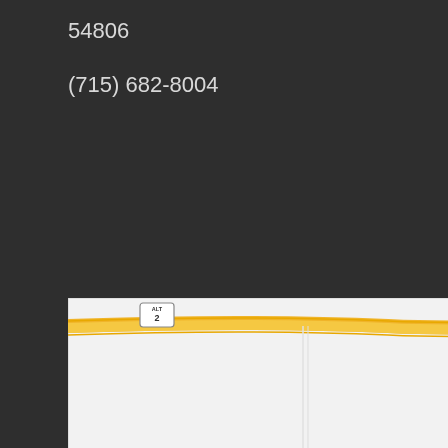54806
(715) 682-8004
[Figure (map): Google Maps screenshot showing The Local Bar & Gr (The Local Bar & Grill) location marked with an orange restaurant pin on Clubhouse Dr, near ALT 2 highway. The map shows a light gray street layout with a yellow highway running horizontally near the top.]